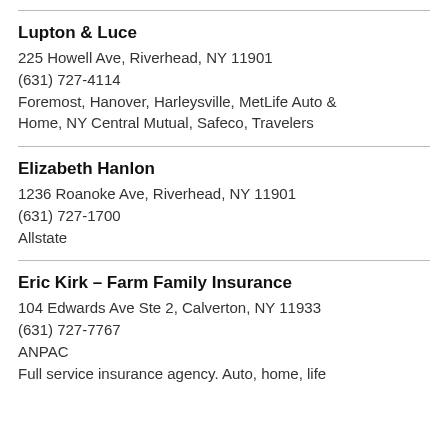Lupton & Luce
225 Howell Ave, Riverhead, NY 11901
(631) 727-4114
Foremost, Hanover, Harleysville, MetLife Auto & Home, NY Central Mutual, Safeco, Travelers
Elizabeth Hanlon
1236 Roanoke Ave, Riverhead, NY 11901
(631) 727-1700
Allstate
Eric Kirk – Farm Family Insurance
104 Edwards Ave Ste 2, Calverton, NY 11933
(631) 727-7767
ANPAC
Full service insurance agency. Auto, home, life